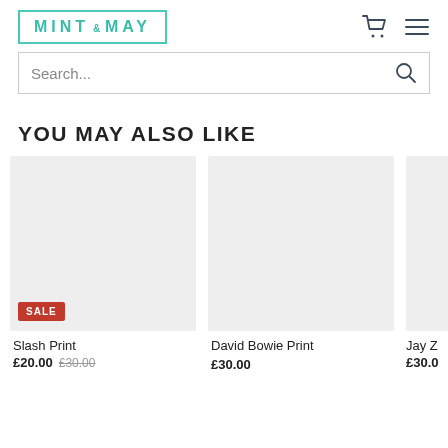[Figure (logo): Mint & May logo with teal border and teal text, cart icon and hamburger menu icon on the right]
Search...
YOU MAY ALSO LIKE
[Figure (photo): Slash Print product image placeholder (light grey background) with red SALE badge]
Slash Print
£20.00  £30.00
[Figure (photo): David Bowie Print product image placeholder (light grey background)]
David Bowie Print
£30.00
[Figure (photo): Jay Z product image placeholder partially visible]
Jay Z
£30.0